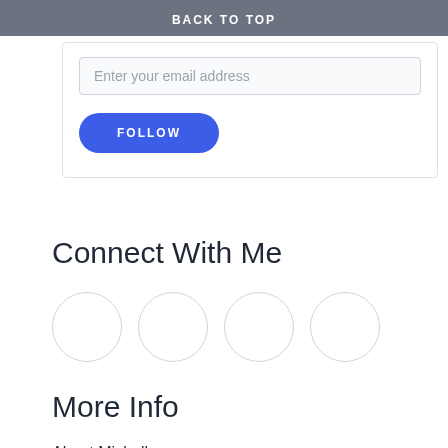BACK TO TOP
Enter your email address
FOLLOW
Connect With Me
[Figure (other): Four circular social media icon placeholders in a row]
More Info
About Michelle
Contact Us
Testimonials